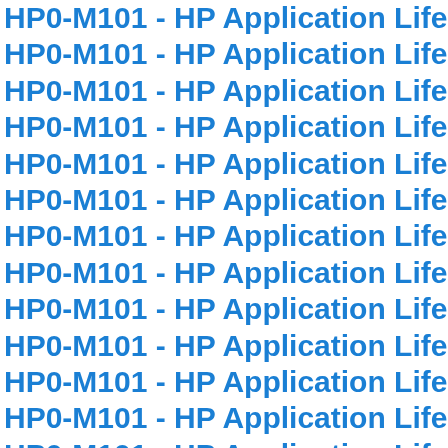HP0-M101 - HP Application Lifecycle Ma
HP0-M101 - HP Application Lifecycle Ma
HP0-M101 - HP Application Lifecycle Ma
HP0-M101 - HP Application Lifecycle Ma
HP0-M101 - HP Application Lifecycle Ma
HP0-M101 - HP Application Lifecycle Ma
HP0-M101 - HP Application Lifecycle Ma
HP0-M101 - HP Application Lifecycle Ma
HP0-M101 - HP Application Lifecycle Ma
HP0-M101 - HP Application Lifecycle Ma
HP0-M101 - HP Application Lifecycle Ma
HP0-M101 - HP Application Lifecycle Ma
HP0-M101 - HP Application Lifecycle Ma
HP0-M101 - HP Application Lifecycle Ma